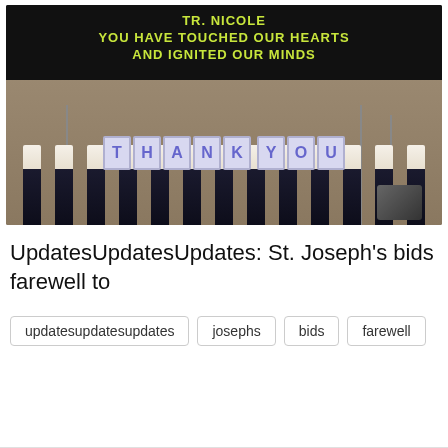[Figure (photo): Group of school boys in white shirts and black pants holding up letter cards spelling THANK YOU on a stage. Behind them is a black banner with yellow-green text reading 'TR. NICOLE YOU HAVE TOUCHED OUR HEARTS AND IGNITED OUR MINDS'. Microphone stands and a speaker are visible.]
UpdatesUpdatesUpdates: St. Joseph's bids farewell to
updatesupdatesupdates
josephs
bids
farewell